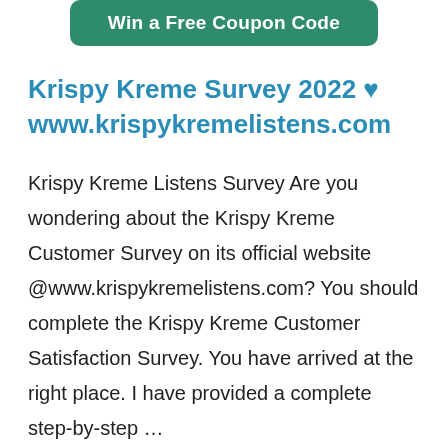[Figure (other): Green rounded button with white bold text: 'Win a Free Coupon Code']
Krispy Kreme Survey 2022 ♥ www.krispykremelistens.com
Krispy Kreme Listens Survey Are you wondering about the Krispy Kreme Customer Survey on its official website @www.krispykremelistens.com? You should complete the Krispy Kreme Customer Satisfaction Survey. You have arrived at the right place. I have provided a complete step-by-step …